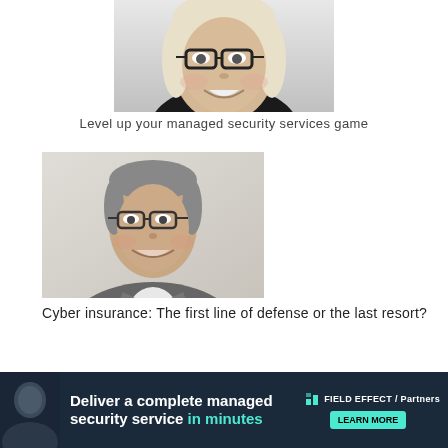[Figure (photo): Black and white headshot of a smiling woman with glasses and long blonde hair]
Level up your managed security services game
[Figure (photo): Color photo of a smiling man with glasses wearing a grey suit jacket and light shirt]
Cyber insurance: The first line of defense or the last resort?
[Figure (infographic): Advertisement banner: Deliver a complete managed security service in minutes. Field Effect / Partners logo with teal CTA button.]